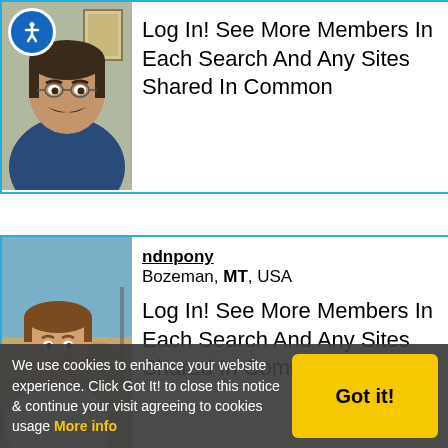[Figure (photo): Photo of a man with mustache in dark shirt, with accessibility icon overlay in top-left]
Log In! See More Members In Each Search And Any Sites Shared In Common
[Figure (photo): Photo of a man smiling in white shirt outdoors]
ndnpony
Bozeman, MT, USA
Log In! See More Members In Each Search And Any Sites Shared In Common
We use cookies to enhance your website experience. Click Got It! to close this notice & continue your visit agreeing to cookies usage More info